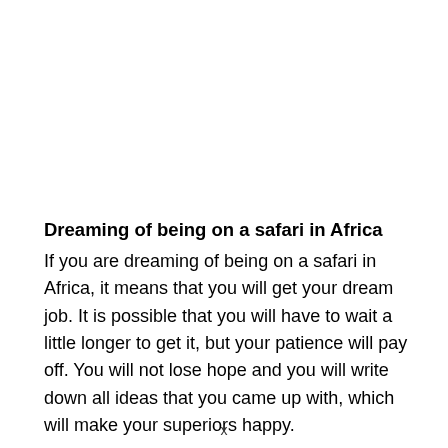Dreaming of being on a safari in Africa
If you are dreaming of being on a safari in Africa, it means that you will get your dream job. It is possible that you will have to wait a little longer to get it, but your patience will pay off. You will not lose hope and you will write down all ideas that you came up with, which will make your superiors happy.
x